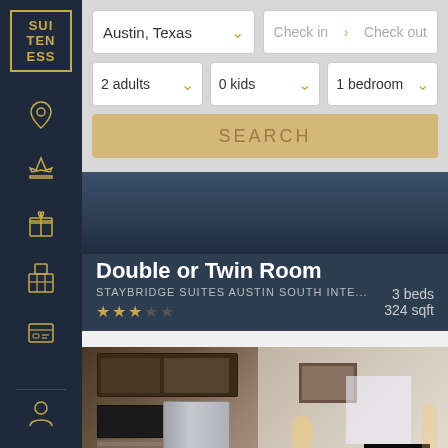[Figure (screenshot): Dark navy sidebar with SuitEness logo in gold border at top, followed by navigation icons (location pin, airport/plane, gift, grid/building, ID card) in gold outline on dark background, and a person icon at bottom.]
Austin, Texas
Check in > Check out
2 adults
0 kids
1 bedroom
SEARCH
Double or Twin Room
STAYBRIDGE SUITES AUSTIN SOUTH INTE...
3 beds
324 sqft
[Figure (photo): Hotel room photo showing kitchen with stainless steel refrigerator, dark wood cabinets, microwave, and adjacent bedroom area with bed, TV unit, and lamp.]
Standard Room
STAYBRIDGE SUITES AUSTIN SOUTH INTE...
0 beds